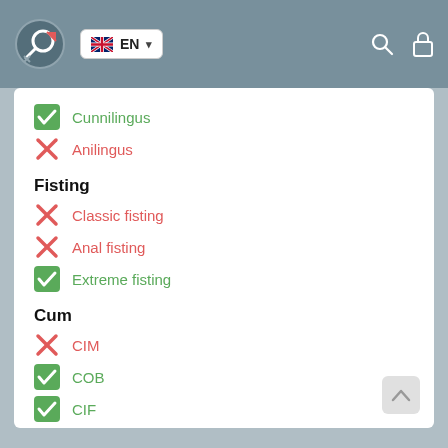EN language selector with search and lock icons
✓ Cunnilingus
✗ Anilingus
Fisting
✗ Classic fisting
✗ Anal fisting
✓ Extreme fisting
Cum
✗ CIM
✓ COB
✓ CIF
WS
✓ WS giving
✓ WS getting